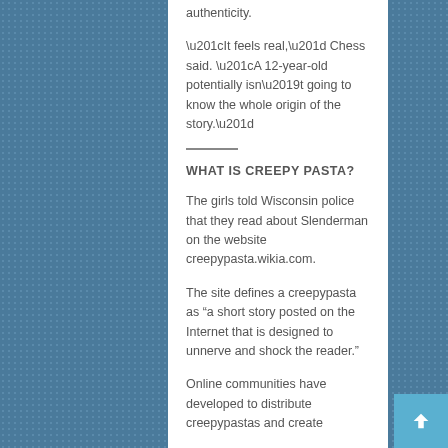authenticity.
“It feels real,” Chess said. “A 12-year-old potentially isn’t going to know the whole origin of the story.”
WHAT IS CREEPY PASTA?
The girls told Wisconsin police that they read about Slenderman on the website creepypasta.wikia.com.
The site defines a creepypasta as “a short story posted on the Internet that is designed to unnerve and shock the reader.”
Online communities have developed to distribute creepypastas and create